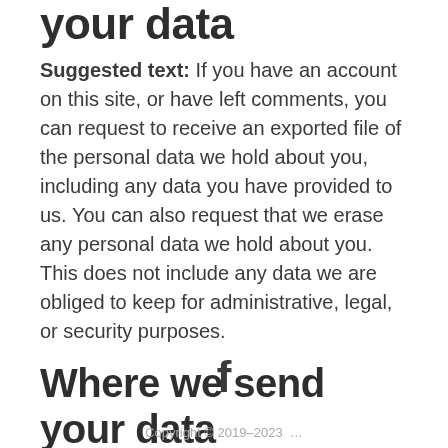your data
Suggested text: If you have an account on this site, or have left comments, you can request to receive an exported file of the personal data we hold about you, including any data you have provided to us. You can also request that we erase any personal data we hold about you. This does not include any data we are obliged to keep for administrative, legal, or security purposes.
Where we send your data
Suggested text: Visitor comments may be checked through an automated spam detection service.
[Figure (logo): Facebook 'f' icon in dark gray]
Copyright © 2019–2023 ...